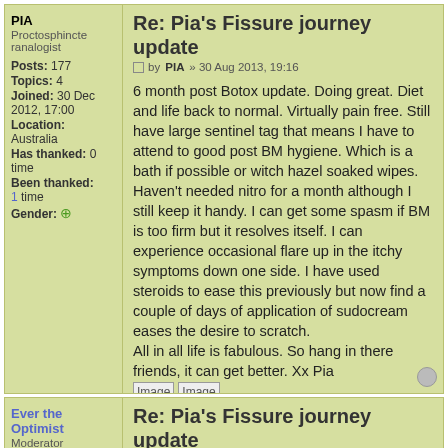PIA
Proctosphincteranalogist
Posts: 177
Topics: 4
Joined: 30 Dec 2012, 17:00
Location: Australia
Has thanked: 0 time
Been thanked: 1 time
Gender:
Re: Pia's Fissure journey update
by PIA » 30 Aug 2013, 19:16
6 month post Botox update. Doing great. Diet and life back to normal. Virtually pain free. Still have large sentinel tag that means I have to attend to good post BM hygiene. Which is a bath if possible or witch hazel soaked wipes. Haven't needed nitro for a month although I still keep it handy. I can get some spasm if BM is too firm but it resolves itself. I can experience occasional flare up in the itchy symptoms down one side. I have used steroids to ease this previously but now find a couple of days of application of sudocream eases the desire to scratch.
All in all life is fabulous. So hang in there friends, it can get better. Xx Pia
Ever the Optimist
Moderator
Re: Pia's Fissure journey update
by Ever the Optimist » 31 Aug 2013, 01:01